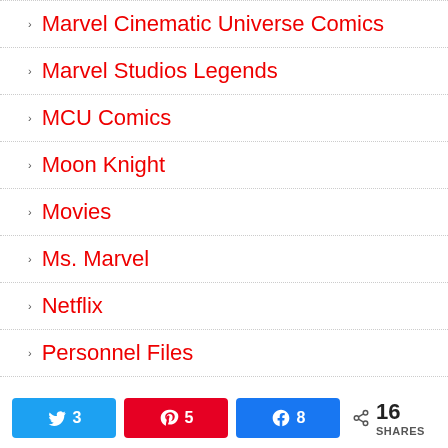Marvel Cinematic Universe Comics
Marvel Studios Legends
MCU Comics
Moon Knight
Movies
Ms. Marvel
Netflix
Personnel Files
3  5  8  16 SHARES